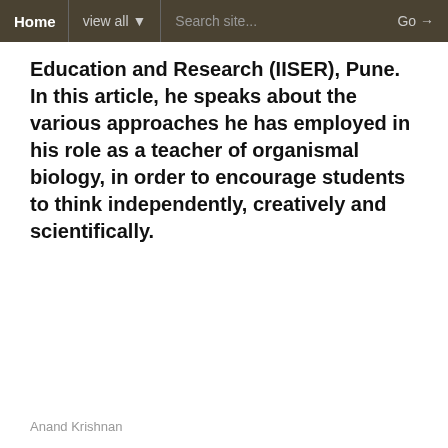Home   view all ▼   Search site...   Go →
Education and Research (IISER), Pune. In this article, he speaks about the various approaches he has employed in his role as a teacher of organismal biology, in order to encourage students to think independently, creatively and scientifically.
Anand Krishnan